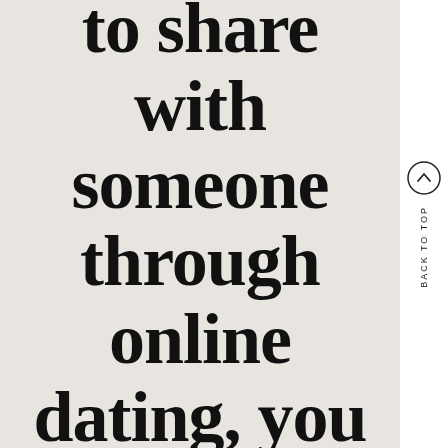to share with someone through online dating, you should
[Figure (other): Back to top navigation button: a circle with an upward chevron arrow, with vertical text 'BACK TO TOP' beside it]